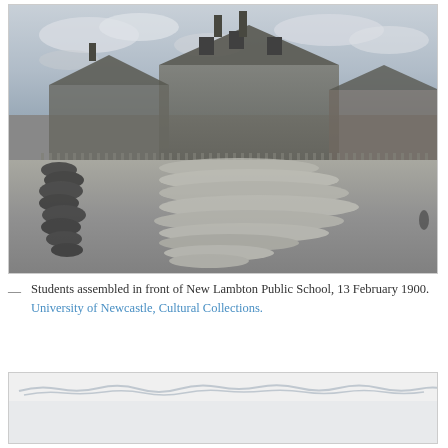[Figure (photo): Black and white photograph of students assembled in rows in front of New Lambton Public School building on 13 February 1900. The school is a Victorian-era building with a pitched roof. Students are lined up in formation across the school grounds.]
— Students assembled in front of New Lambton Public School, 13 February 1900. University of Newcastle, Cultural Collections.
[Figure (photo): Partial view of a second historical photograph, mostly cut off at the bottom of the page. Shows faint handwriting or text at the top of the image.]